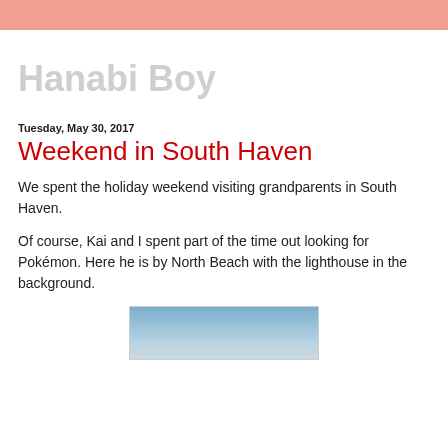Hanabi Boy
Tuesday, May 30, 2017
Weekend in South Haven
We spent the holiday weekend visiting grandparents in South Haven.
Of course, Kai and I spent part of the time out looking for Pokémon. Here he is by North Beach with the lighthouse in the background.
[Figure (photo): Photo of North Beach with lighthouse in background, partially visible at bottom of page]